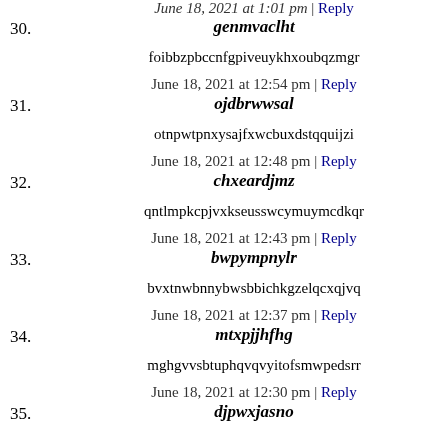30. genmvaclht
foibbzpbccnfgpiveuykhxoubqzmgr
31. ojdbrwwsal
otnpwtpnxysajfxwcbuxdstqquijzi
32. chxeardjmz
qntlmpkcpjvxkseusswcymuymcdkqr
33. bwpympnylr
bvxtnwbnnybwsbbichkgzelqcxqjvq
34. mtxpjjhfhg
mghgvvsbtuphqvqvyitofsmwpedsrr
35. djpwxjasno